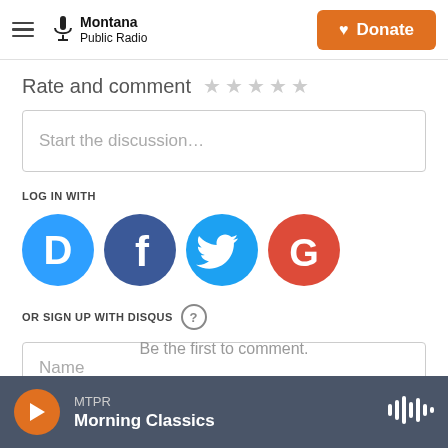Montana Public Radio — Donate
Rate and comment ★ ★ ★ ★ ★
Start the discussion…
LOG IN WITH
[Figure (logo): Social login buttons: Disqus (blue circle with D), Facebook (dark blue circle with f), Twitter (light blue circle with bird), Google (red/white circle with G)]
OR SIGN UP WITH DISQUS ?
Name
Be the first to comment.
MTPR Morning Classics